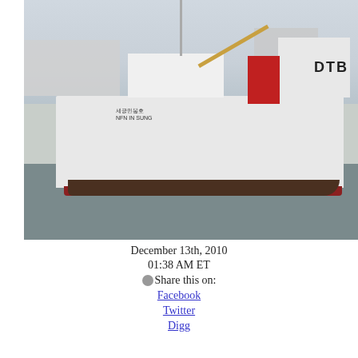[Figure (photo): A large white fishing/research vessel docked in a harbor. The ship has Korean characters and 'NFN IN SUNG' written on its hull. 'DTB' lettering is visible on the right superstructure. Red equipment and a crane arm are visible on deck. Other ships are visible in the background.]
December 13th, 2010
01:38 AM ET
Share this on:
Facebook
Twitter
Digg